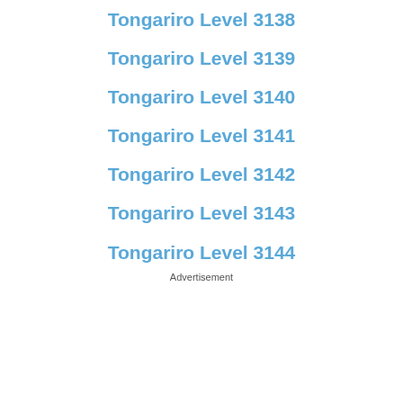Tongariro Level 3138
Tongariro Level 3139
Tongariro Level 3140
Tongariro Level 3141
Tongariro Level 3142
Tongariro Level 3143
Tongariro Level 3144
Advertisement